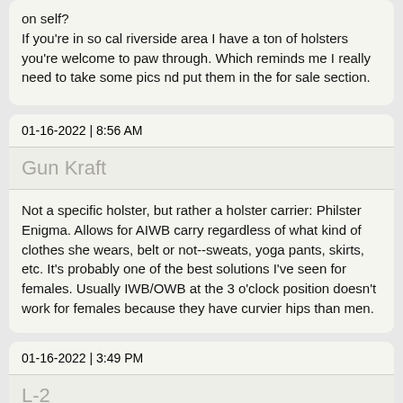on self?
If you're in so cal riverside area I have a ton of holsters you're welcome to paw through. Which reminds me I really need to take some pics nd put them in the for sale section.
01-16-2022 | 8:56 AM
Gun Kraft
Not a specific holster, but rather a holster carrier: Philster Enigma. Allows for AIWB carry regardless of what kind of clothes she wears, belt or not--sweats, yoga pants, skirts, etc. It's probably one of the best solutions I've seen for females. Usually IWB/OWB at the 3 o'clock position doesn't work for females because they have curvier hips than men.
01-16-2022 | 3:49 PM
L-2
Also, (both of you) read the "Choosing Holsters" section of this